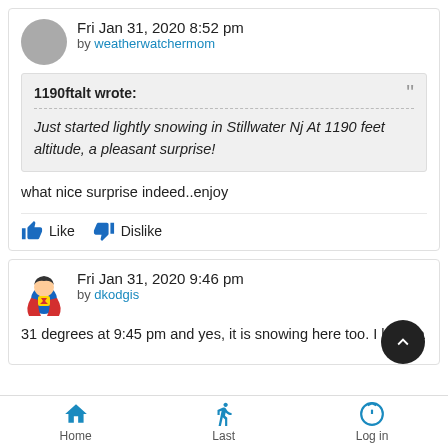Fri Jan 31, 2020 8:52 pm by weatherwatchermom
1190ftalt wrote:
Just started lightly snowing in Stillwater Nj At 1190 feet altitude, a pleasant surprise!
what nice surprise indeed..enjoy
Like   Dislike
Fri Jan 31, 2020 9:46 pm by dkodgis
31 degrees at 9:45 pm and yes, it is snowing here too. I have a
Home   Last   Log in